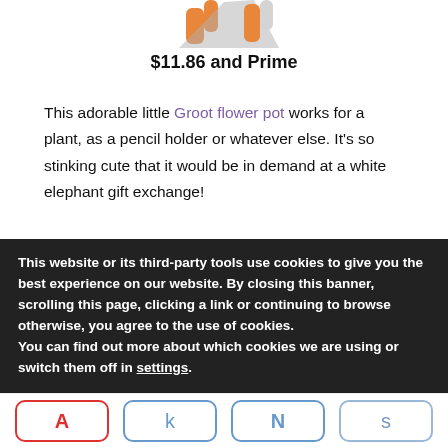[Figure (photo): Top portion of a Groot-themed flower pot figure (orange/tan hands and grey background cloak), cropped at top of page]
$11.86 and Prime
This adorable little Groot flower pot works for a plant, as a pencil holder or whatever else. It's so stinking cute that it would be in demand at a white elephant gift exchange!
[Figure (photo): Groot flower pot holding pink orchid flowers with green leaves, terracotta-colored pot shaped like Groot's hands]
This website or its third-party tools use cookies to give you the best experience on our website. By closing this banner, scrolling this page, clicking a link or continuing to browse otherwise, you agree to the use of cookies. You can find out more about which cookies we are using or switch them off in settings.